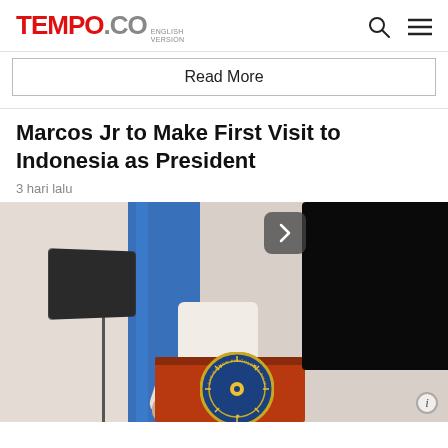TEMPO.CO ENGLISH VERSION
Read More
Marcos Jr to Make First Visit to Indonesia as President
3 hari lalu
[Figure (photo): Philippine President Marcos Jr at a podium with the Philippine presidential seal, with a blue flag in the background. A video overlay panel appears on the right side of the image.]